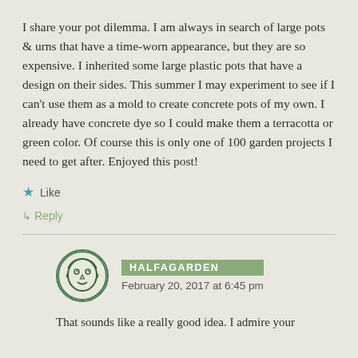I share your pot dilemma. I am always in search of large pots & urns that have a time-worn appearance, but they are so expensive. I inherited some large plastic pots that have a design on their sides. This summer I may experiment to see if I can't use them as a mold to create concrete pots of my own. I already have concrete dye so I could make them a terracotta or green color. Of course this is only one of 100 garden projects I need to get after. Enjoyed this post!
★ Like
↳ Reply
HALFAGARDEN
February 20, 2017 at 6:45 pm
That sounds like a really good idea. I admire your